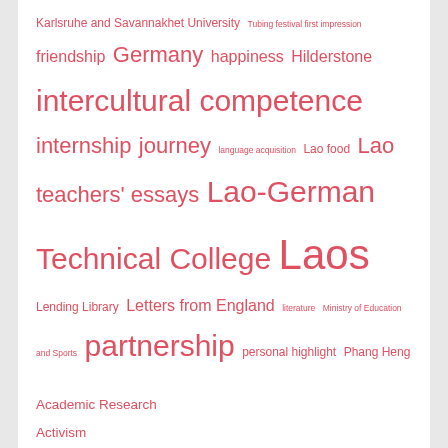Karlsruhe and Savannakhet University Tubing festival first impression friendship Germany happiness Hilderstone intercultural competence internship journey language acquisition Lao food Lao teachers' essays Lao-German Technical College Laos Lending Library Letters from England literature Ministry of Education and Sports partnership personal highlight Phang Heng primary school Phang Heng secondary school Sikeud primary school singing smile Square Dance Teaching English in Laos teaching the teachers Total Physical Response VEDI Vientiane ways of teaching Western food workshop
Academic Research
Activism
Activity time
All Posts